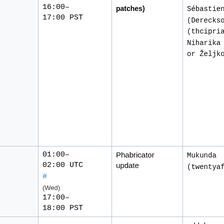|  | Time | Type | Names |
| --- | --- | --- | --- |
|  | 16:00–17:00 PST | patches) | Sébastien (Dereckson), T (thcipriani) Niharika (Niha or Željko (zelj |
|  | 01:00–02:00 UTC # (Wed) 17:00–18:00 PST | Phabricator update | Mukunda (twentyafter |
|  | 12:00–13:00 UTC # 04:00–05:00 PST | European Mid-day SWAT (Max 6 patches) | addshore, Ant (hashar), Katie (aude), Max (MaxSem), Muk (twentyafter Roan (RoanKattouw Sébastien |